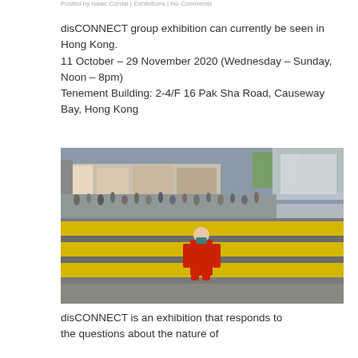Posted by Isaac Cordal | Exhibitions | No Comments
disCONNECT group exhibition can currently be seen in Hong Kong.
11 October – 29 November 2020 (Wednesday – Sunday, Noon – 8pm)
Tenement Building: 2-4/F 16 Pak Sha Road, Causeway Bay, Hong Kong
[Figure (photo): A person dressed in a red robe and red shoes standing on a yellow zebra crossing in Hong Kong, with a blurred vehicle passing on the right and a crowd of people on the sidewalk in the background.]
disCONNECT is an exhibition that responds to the questions about the nature of